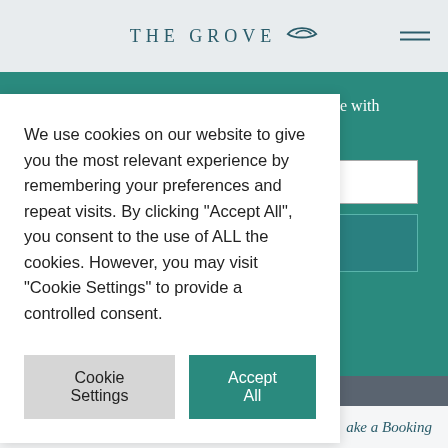THE GROVE
Sign up to our newsletter to keep up to date with all of our latest offers and events.
FIRST NAME:
We use cookies on our website to give you the most relevant experience by remembering your preferences and repeat visits. By clicking “Accept All”, you consent to the use of ALL the cookies. However, you may visit "Cookie Settings" to provide a controlled consent.
Cookie Settings
Accept All
Make a Booking